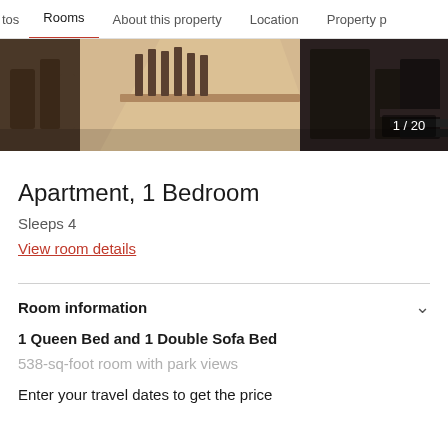tos  Rooms  About this property  Location  Property p
[Figure (photo): Interior room photo showing chairs and furniture, with overlay text '1 / 20']
Apartment, 1 Bedroom
Sleeps 4
View room details
Room information
1 Queen Bed and 1 Double Sofa Bed
538-sq-foot room with park views
Enter your travel dates to get the price